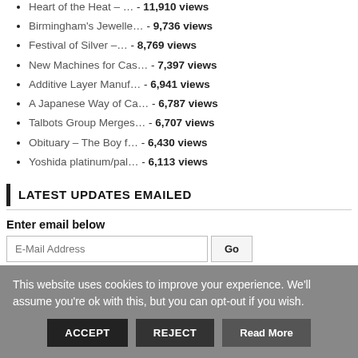Heart of the Heat – ... - 11,910 views
Birmingham's Jewelle… - 9,736 views
Festival of Silver –… - 8,769 views
New Machines for Cas… - 7,397 views
Additive Layer Manuf… - 6,941 views
A Japanese Way of Ca… - 6,787 views
Talbots Group Merges… - 6,707 views
Obituary – The Boy f… - 6,430 views
Yoshida platinum/pal… - 6,113 views
LATEST UPDATES EMAILED
Enter email below
E-Mail Address  Go
Privacy Policy
This website uses cookies to improve your experience. We'll assume you're ok with this, but you can opt-out if you wish.
ACCEPT   REJECT   Read More